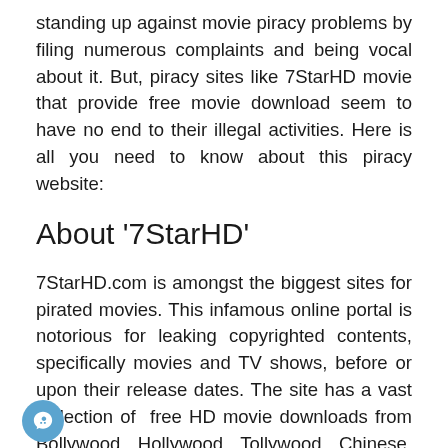standing up against movie piracy problems by filing numerous complaints and being vocal about it. But, piracy sites like 7StarHD movie that provide free movie download seem to have no end to their illegal activities. Here is all you need to know about this piracy website:
About '7StarHD'
7StarHD.com is amongst the biggest sites for pirated movies. This infamous online portal is notorious for leaking copyrighted contents, specifically movies and TV shows, before or upon their release dates. The site has a vast collection of  free HD movie downloads from Bollywood, Hollywood, Tollywood, Chinese, Korean, and Japanese films. Such free movie